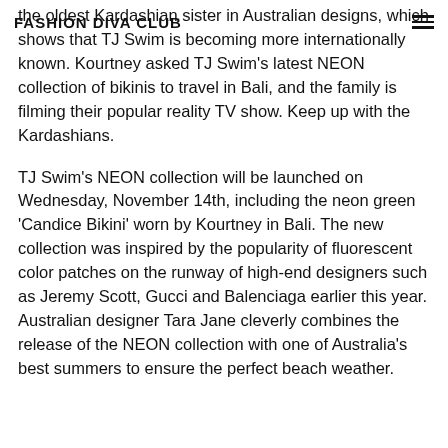FASHION DIVA CLUB
the oldest Kardashian sister in Australian designs, which shows that TJ Swim is becoming more internationally known. Kourtney asked TJ Swim's latest NEON collection of bikinis to travel in Bali, and the family is filming their popular reality TV show. Keep up with the Kardashians.
TJ Swim's NEON collection will be launched on Wednesday, November 14th, including the neon green 'Candice Bikini' worn by Kourtney in Bali. The new collection was inspired by the popularity of fluorescent color patches on the runway of high-end designers such as Jeremy Scott, Gucci and Balenciaga earlier this year. Australian designer Tara Jane cleverly combines the release of the NEON collection with one of Australia's best summers to ensure the perfect beach weather.